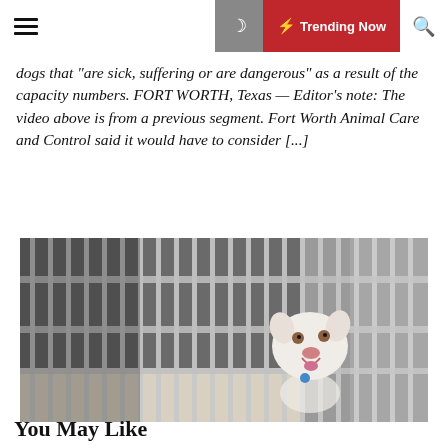≡  🌙  ⚡ Trending Now  🔍
dogs that "are sick, suffering or are dangerous" as a result of the capacity numbers. FORT WORTH, Texas — Editor's note: The video above is from a previous segment. Fort Worth Animal Care and Control said it would have to consider [...]
[Figure (photo): A white dog looking through metal kennel bars at an animal shelter]
You May Like